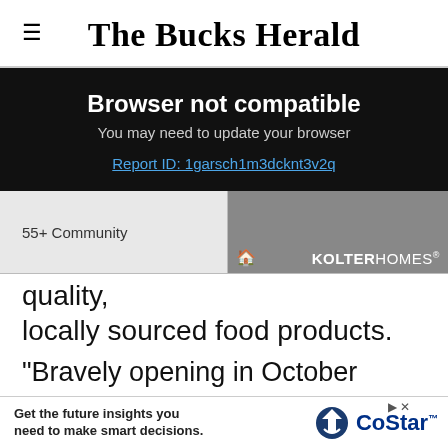The Bucks Herald
[Figure (screenshot): Browser not compatible overlay on dark background with text: 'Browser not compatible', 'You may need to update your browser', and link 'Report ID: 1garsch1m3dcknt3v2q']
[Figure (photo): Advertisement image showing '55+ Community' label on left and KOLTER HOMES branding on right with grey/dark background photo]
quality, locally sourced food products.
"Bravely opening in October 2020, the team incorporated a cosy tea room, now run by Curiositea Rooms, into the farm shop serving hot and cold food and delicious cakes, freshly baked
[Figure (screenshot): CoStar advertisement banner at bottom: 'Get the future insights you need to make smart decisions.' with CoStar logo]